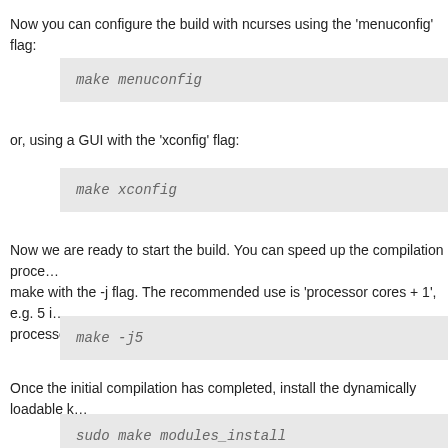Now you can configure the build with ncurses using the 'menuconfig' flag:
make menuconfig
or, using a GUI with the 'xconfig' flag:
make xconfig
Now we are ready to start the build. You can speed up the compilation process by invoking make with the -j flag. The recommended use is 'processor cores + 1', e.g. 5 if you have a quad core processor:
make -j5
Once the initial compilation has completed, install the dynamically loadable kernel modules:
sudo make modules_install